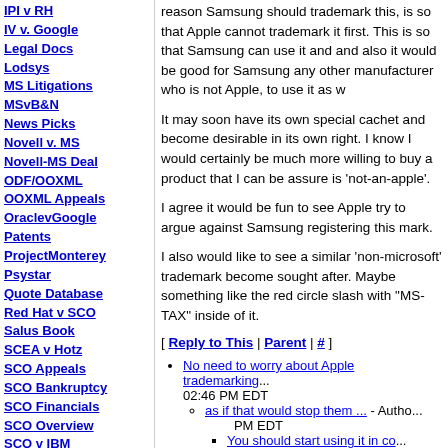IPI v RH
IV v. Google
Legal Docs
Lodsys
MS Litigations
MSvB&N
News Picks
Novell v. MS
Novell-MS Deal
ODF/OOXML
OOXML Appeals
OraclevGoogle
Patents
ProjectMonterey
Psystar
Quote Database
Red Hat v SCO
Salus Book
SCEA v Hotz
SCO Appeals
SCO Bankruptcy
SCO Financials
SCO Overview
SCO v IBM
SCO v Novell
SCO:Soup2Nuts
SCOsource
Sean Daly
Software Patents
Switch to Linux
Transcripts
Unix Books
reason Samsung should trademark this, is so that Apple cannot trademark it first. This is so that Samsung can use it and and also it would be good for Samsung any other manufacturer who is not Apple, to use it as w
It may soon have its own special cachet and become desirable in its own right. I know I would certainly be much more willing to buy a product that I can be assure is 'not-an-apple'.
I agree it would be fun to see Apple try to argue against Samsung registering this mark.
I also would like to see a similar 'non-microsoft' trademark become sought after. Maybe something like the red circle slash with "MS-TAX" inside of it.
[ Reply to This | Parent | # ]
No need to worry about Apple trademarking... 02:46 PM EDT
as if that would stop them ... - Autho... PM EDT
You should start using it in co... August 06 2012 @ 10:37 PM ED
Others should be allowed to use it too ... - A 03:13 PM EDT